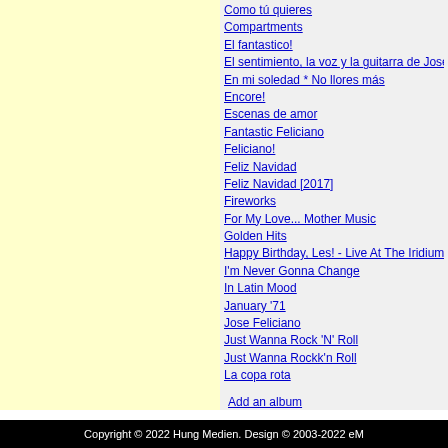Como tú quieres
Compartments
El fantastico!
El sentimiento, la voz y la guitarra de José Felicia
En mi soledad * No llores más
Encore!
Escenas de amor
Fantastic Feliciano
Feliciano!
Feliz Navidad
Feliz Navidad [2017]
Fireworks
For My Love... Mother Music
Golden Hits
Happy Birthday, Les! - Live At The Iridium (José Feliciano with the Les Paul Trio)
I'm Never Gonna Change
In Latin Mood
January '71
Jose Feliciano
Just Wanna Rock 'N' Roll
Just Wanna Rockk'n Roll
La copa rota
Add an album
DVDS BY JOSE FELICIANO
The Paris Concert
REVIEWS
No reviews yet.
Add a review
Copyright © 2022 Hung Medien. Design © 2003-2022 eM